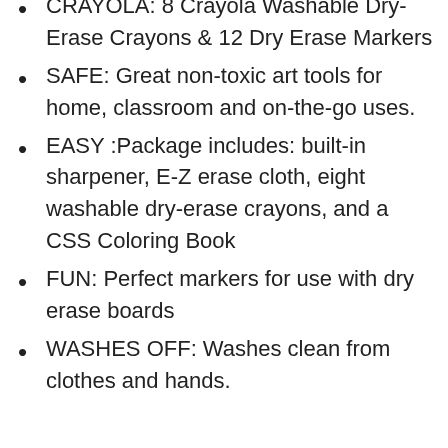CRAYOLA: 8 Crayola Washable Dry-Erase Crayons & 12 Dry Erase Markers
SAFE: Great non-toxic art tools for home, classroom and on-the-go uses.
EASY :Package includes: built-in sharpener, E-Z erase cloth, eight washable dry-erase crayons, and a CSS Coloring Book
FUN: Perfect markers for use with dry erase boards
WASHES OFF: Washes clean from clothes and hands.